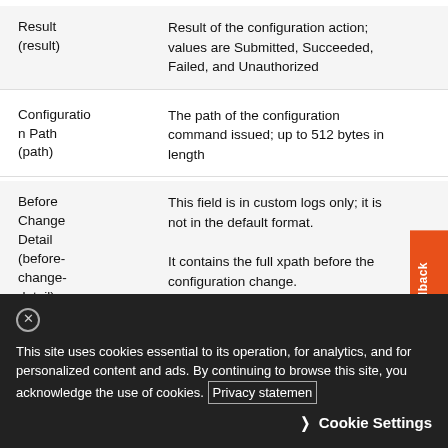| Field | Description |
| --- | --- |
| Result (result) | Result of the configuration action; values are Submitted, Succeeded, Failed, and Unauthorized |
| Configuration Path (path) | The path of the configuration command issued; up to 512 bytes in length |
| Before Change Detail (before-change-detail) | This field is in custom logs only; it is not in the default format.

It contains the full xpath before the configuration change. |
This site uses cookies essential to its operation, for analytics, and for personalized content and ads. By continuing to browse this site, you acknowledge the use of cookies. Privacy statement